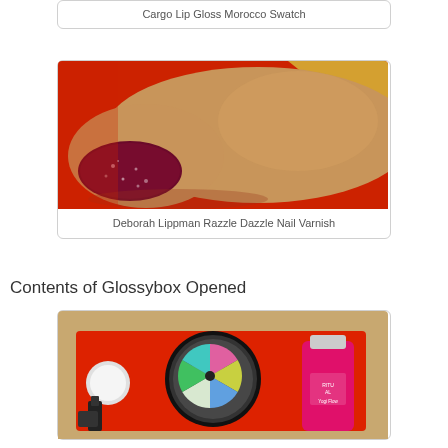Cargo Lip Gloss Morocco Swatch
[Figure (photo): Close-up of a finger with dark glittery burgundy nail varnish on a red background]
Deborah Lippman Razzle Dazzle Nail Varnish
Contents of Glossybox Opened
[Figure (photo): Beauty products laid out in a red box including eyeshadow palette, compact mirror, nail polish, and a pink bottle labelled Yogi Flow]